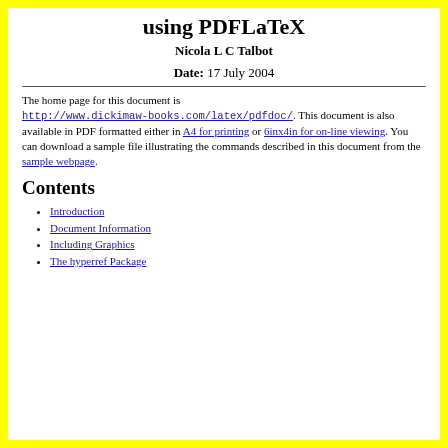using PDFLaTeX
Nicola L C Talbot
Date: 17 July 2004
The home page for this document is http://www.dickimaw-books.com/latex/pdfdoc/. This document is also available in PDF formatted either in A4 for printing or 6inx4in for on-line viewing. You can download a sample file illustrating the commands described in this document from the sample webpage.
Contents
Introduction
Document Information
Including Graphics
The hyperref Package